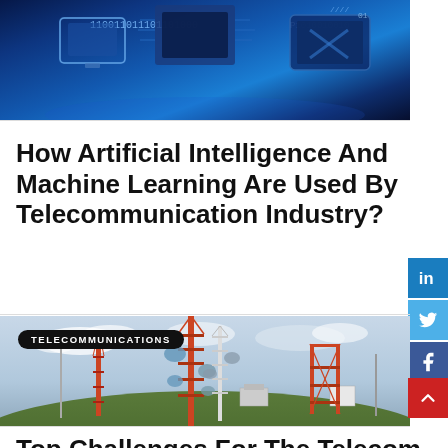[Figure (photo): Tech/AI themed background image with circuit board pattern, binary code text '110011011101101000' and other numbers, blue digital/technology aesthetic with monitors and microchips]
How Artificial Intelligence And Machine Learning Are Used By Telecommunication Industry?
[Figure (photo): Photograph of telecommunication towers/antennas on a hilltop against a cloudy sky, with buildings below. A 'TELECOMMUNICATIONS' label badge overlaid on the top-left of the image.]
Top Challenges For The Telecom